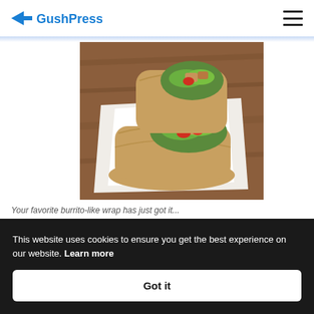GushPress [logo] [hamburger menu]
[Figure (photo): Two chicken wraps filled with lettuce, tomato, and grilled chicken pieces, placed on white paper on a wooden surface]
Your favorite burrito-like wrap has just got it...
This website uses cookies to ensure you get the best experience on our website. Learn more
Got it